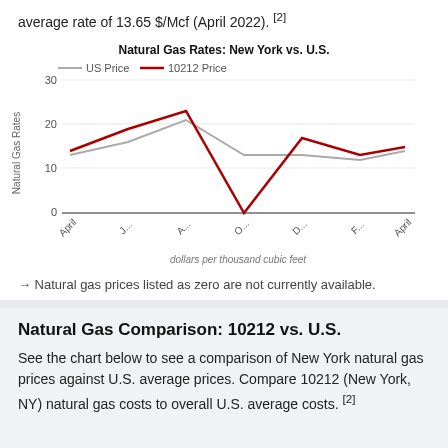average rate of 13.65 $/Mcf (April 2022). [2]
[Figure (line-chart): Natural Gas Rates: New York vs. U.S.]
→ Natural gas prices listed as zero are not currently available.
Natural Gas Comparison: 10212 vs. U.S.
See the chart below to see a comparison of New York natural gas prices against U.S. average prices. Compare 10212 (New York, NY) natural gas costs to overall U.S. average costs. [2]